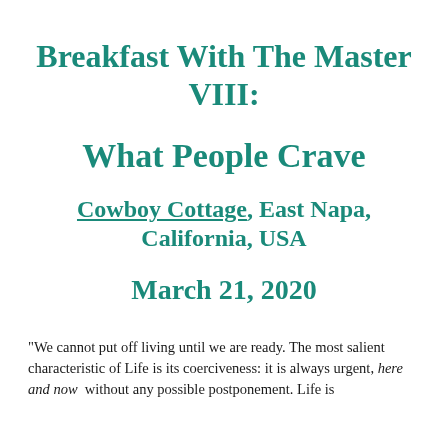Breakfast With The Master VIII:
What People Crave
Cowboy Cottage, East Napa, California, USA
March 21, 2020
"We cannot put off living until we are ready. The most salient characteristic of Life is its coerciveness: it is always urgent, here and now  without any possible postponement. Life is